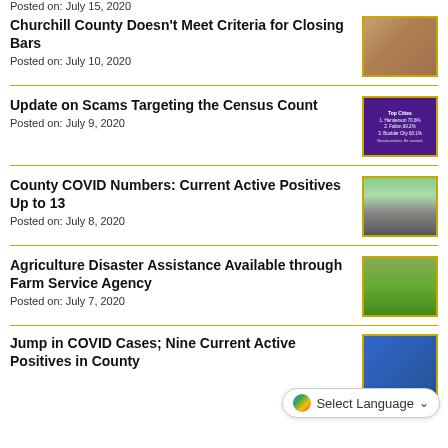Posted on: July 15, 2020
Churchill County Doesn't Meet Criteria for Closing Bars — Posted on: July 10, 2020
Update on Scams Targeting the Census Count — Posted on: July 9, 2020
County COVID Numbers: Current Active Positives Up to 13 — Posted on: July 8, 2020
Agriculture Disaster Assistance Available through Farm Service Agency — Posted on: July 7, 2020
Select Language
Jump in COVID Cases; Nine Current Active Positives in County